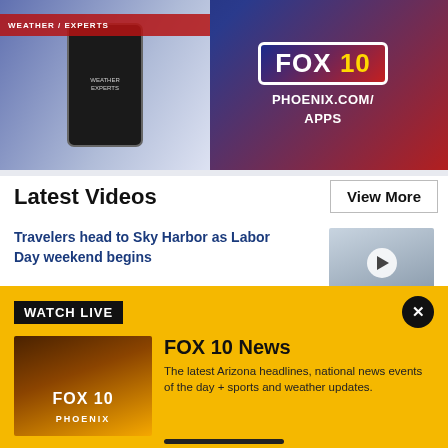[Figure (photo): FOX 10 Phoenix app advertisement banner with smartphone and FOX 10 logo, PHOENIX.COM/APPS text]
Latest Videos
View More
Travelers head to Sky Harbor as Labor Day weekend begins
[Figure (photo): Video thumbnail showing airport runway, with play button overlay]
Noon Weather Forecast - 9/2/22
[Figure (photo): Video thumbnail showing weather forecast broadcast with EXCESSIVE HEAT WARNING text, with play button overlay]
[Figure (screenshot): WATCH LIVE banner: FOX 10 News - The latest Arizona headlines, national news events of the day + sports and weather updates.]